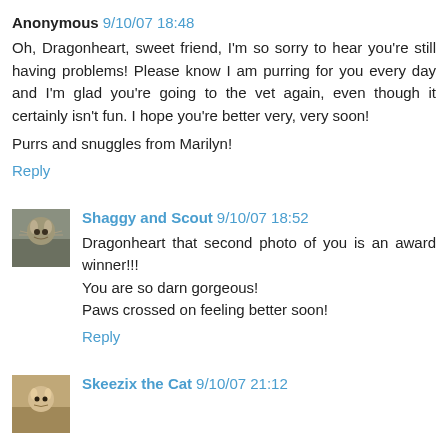Anonymous 9/10/07 18:48
Oh, Dragonheart, sweet friend, I'm so sorry to hear you're still having problems! Please know I am purring for you every day and I'm glad you're going to the vet again, even though it certainly isn't fun. I hope you're better very, very soon!

Purrs and snuggles from Marilyn!
Reply
Shaggy and Scout 9/10/07 18:52
Dragonheart that second photo of you is an award winner!!! You are so darn gorgeous!
Paws crossed on feeling better soon!
Reply
Skeezix the Cat 9/10/07 21:12